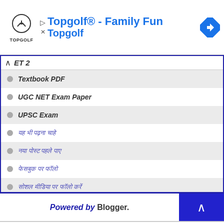[Figure (screenshot): Topgolf advertisement banner with logo, play and close icons, headline text 'Topgolf® - Family Fun' and 'Topgolf', and a blue navigation diamond icon]
ET 2
Textbook PDF
UGC NET Exam Paper
UPSC Exam
यह भी पढ़ना चाहे
नया पोस्ट पहले पाए
फेसबुक पर फॉलो
सोशल मीडिया पर फॉलो करें
Powered by Blogger.